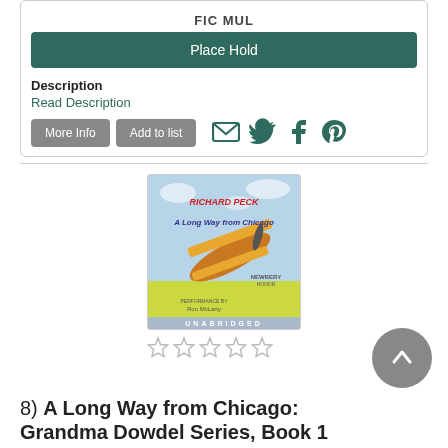FIC MUL
Place Hold
Description
Read Description
More Info
Add to list
[Figure (illustration): Book cover for 'A Long Way from Chicago' by Richard Peck, audiobook edition, unabridged, performance by Ron McLarty. Shows a vintage biplane with colorful artwork.]
8)  A Long Way from Chicago: Grandma Dowdel Series, Book 1